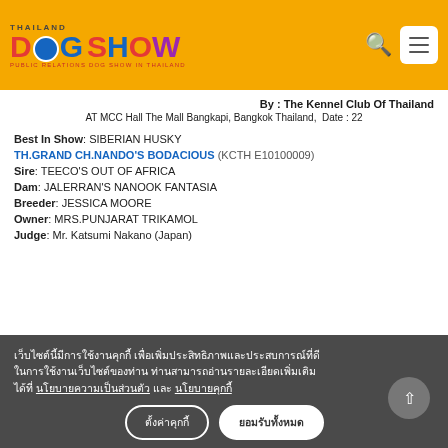THAILAND DOG SHOW — Public Relations Dog Show in Thailand
By : The Kennel Club Of Thailand
AT MCC Hall The Mall Bangkapi, Bangkok Thailand, Date : 22
Best In Show: SIBERIAN HUSKY
TH.GRAND CH.NANDO'S BODACIOUS (KCTH E10100009)
Sire: TEECO'S OUT OF AFRICA
Dam: JALERRAN'S NANOOK FANTASIA
Breeder: JESSICA MOORE
Owner: MRS.PUNJARAT TRIKAMOL
Judge: Mr. Katsumi Nakano (Japan)
เว็บไซต์นี้มีการใช้งานคุกกี้ เพื่อเพิ่มประสิทธิภาพและประสบการณ์ที่ดีในการใช้งานเว็บไซต์ของท่าน ท่านสามารถอ่านรายละเอียดเพิ่มเติมได้ที่ นโยบายความเป็นส่วนตัว และ นโยบายคุกกี้
ตั้งค่าคุกกี้  ยอมรับทั้งหมด